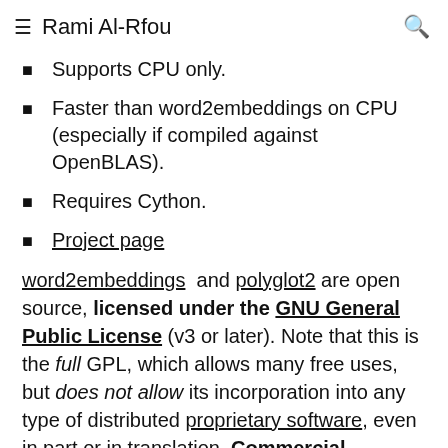Rami Al-Rfou
Supports CPU only.
Faster than word2embeddings on CPU (especially if compiled against OpenBLAS).
Requires Cython.
Project page
word2embeddings and polyglot2 are open source, licensed under the GNU General Public License (v3 or later). Note that this is the full GPL, which allows many free uses, but does not allow its incorporation into any type of distributed proprietary software, even in part or in translation. Commercial licensing is also available; please contact us if you are